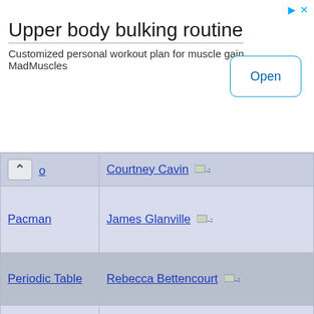[Figure (screenshot): Advertisement banner for 'Upper body bulking routine' by MadMuscles with an Open button]
| [Game/App] | [Author] |
| --- | --- |
| ^ [o] | Courtney Cavin -> |
| Pacman | James Glanville -> |
| Periodic Table | Rebecca Bettencourt -> |
| Petals Around the Rose | Rebecca Bettencourt -> |
| Photos | Kevin Wojniak -> |
| Piano | Armon Khosravi -> |
| Piezo Maker | Terry Stenvold and Felix Bruns -> |